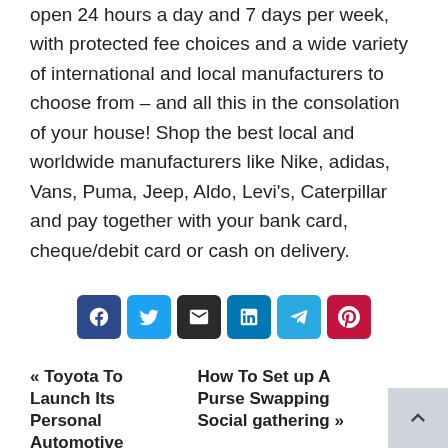open 24 hours a day and 7 days per week, with protected fee choices and a wide variety of international and local manufacturers to choose from – and all this in the consolation of your house! Shop the best local and worldwide manufacturers like Nike, adidas, Vans, Puma, Jeep, Aldo, Levi's, Caterpillar and pay together with your bank card, cheque/debit card or cash on delivery.
[Figure (other): Social share buttons: Facebook, Twitter, Email, LinkedIn, Telegram, Pinterest]
« Toyota To Launch Its Personal Automotive Software Platform By 2025
How To Set up A Purse Swapping Social gathering »